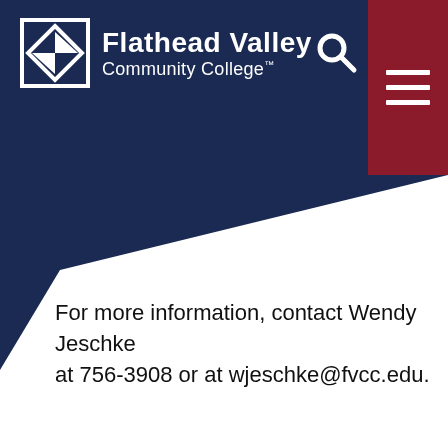[Figure (logo): Flathead Valley Community College logo with white diamond/mountain icon and white text on navy background]
For more information, contact Wendy Jeschke at 756-3908 or at wjeschke@fvcc.edu.